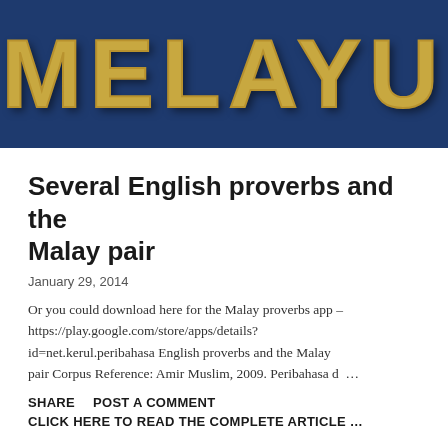[Figure (photo): Decorative banner image with golden stylized 'MELAYU' text on a dark navy blue background]
Several English proverbs and the Malay pair
January 29, 2014
Or you could download here for the Malay proverbs app – https://play.google.com/store/apps/details?id=net.kerul.peribahasa English proverbs and the Malay pair Corpus Reference: Amir Muslim, 2009. Peribahasa d …
SHARE    POST A COMMENT
CLICK HERE TO READ THE COMPLETE ARTICLE …